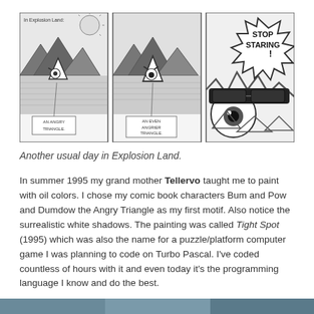[Figure (illustration): A three-panel comic strip. Panel 1 titled 'In Explosion Land:' shows a cartoon angry triangle sailing on water with mountains and sun in background, labeled 'An Angry Triangle'. Panel 2 shows a second angry triangle on the water labeled 'An Even Angrier Triangle'. Panel 3 is a close-up of a face with speech bubble saying 'STOP STARING!']
Another usual day in Explosion Land.
In summer 1995 my grand mother Tellervo taught me to paint with oil colors. I chose my comic book characters Bum and Pow and Dumdow the Angry Triangle as my first motif. Also notice the surrealistic white shadows. The painting was called Tight Spot (1995) which was also the name for a puzzle/platform computer game I was planning to code on Turbo Pascal. I've coded countless of hours with it and even today it's the programming language I know and do the best.
[Figure (photo): Bottom strip partially visible — appears to be a colorful photo strip at the bottom edge of the page.]